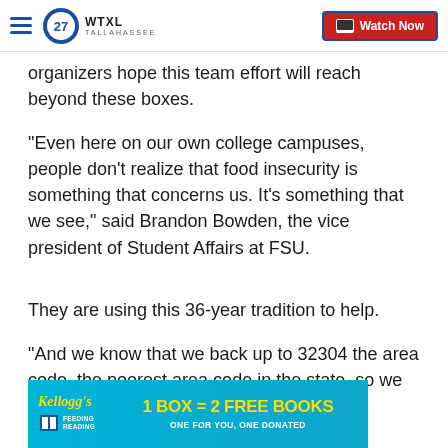WTXL TALLAHASSEE — Watch Now
organizers hope this team effort will reach beyond these boxes.
"Even here on our own college campuses, people don't realize that food insecurity is something that concerns us. It's something that we see," said Brandon Bowden, the vice president of Student Affairs at FSU.
They are using this 36-year tradition to help.
"And we know that we back up to 32304 the area code, the poorest area code in the state, so we never lose sight [of that]," Bowden said.
[Figure (screenshot): Kellogg's Feeding Reading advertisement banner: '1 BOX = 2 FREE BOOKS — ONE FOR YOU, ONE DONATED']